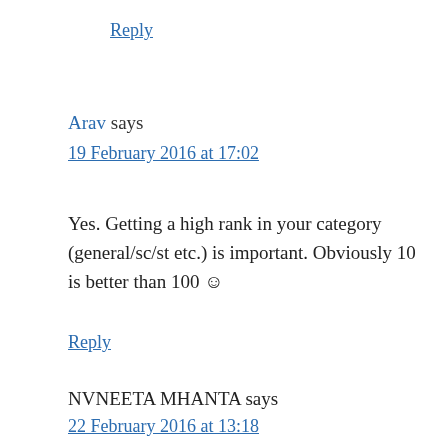Reply
Arav says
19 February 2016 at 17:02
Yes. Getting a high rank in your category (general/sc/st etc.) is important. Obviously 10 is better than 100 ☺
Reply
NVNEETA MHANTA says
22 February 2016 at 13:18